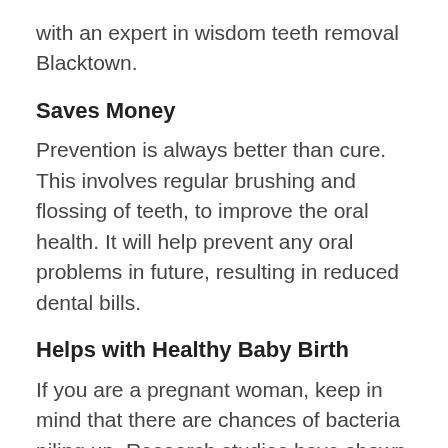with an expert in wisdom teeth removal Blacktown.
Saves Money
Prevention is always better than cure. This involves regular brushing and flossing of teeth, to improve the oral health. It will help prevent any oral problems in future, resulting in reduced dental bills.
Helps with Healthy Baby Birth
If you are a pregnant woman, keep in mind that there are chances of bacteria piling up. Research studies have shown that people with gum diseases have shown to increase